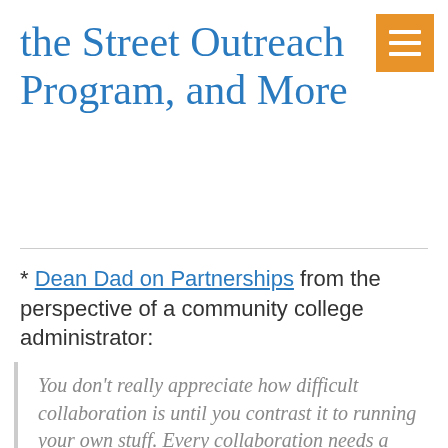the Street Outreach Program, and More
* Dean Dad on Partnerships from the perspective of a community college administrator:
You don’t really appreciate how difficult collaboration is until you contrast it to running your own stuff. Every collaboration needs a “go-to person” at each site, sometimes grant-funded,